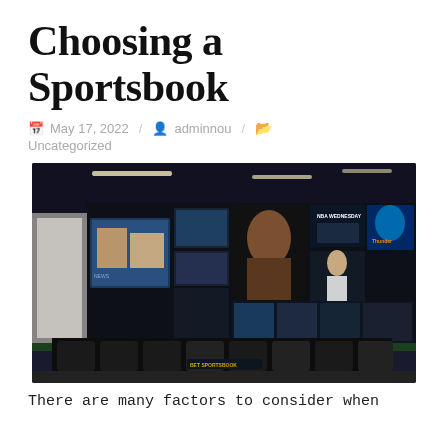Choosing a Sportsbook
May 17, 2022 / adminnou / Uncategorized
[Figure (photo): Interior of a sportsbook lounge with large curved display wall showing multiple sports TV channels including NBA, featuring rows of black seating and green accent lighting along the floor.]
There are many factors to consider when